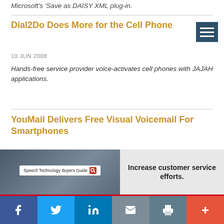Microsoft's 'Save as DAISY XML plug-in.
Dial2Do Does More for the Cell Phone
10 JUN 2008
Hands-free service provider voice-activates cell phones with JAJAH applications.
YouMail Delivers Free Visual Voicemail For Smartphones
06 JUN 2008
Free consumer voicemail service brings Visual Voicemail to iPhone, BlackBerry, Blackjack, Treo, and more.
[Figure (infographic): Advertisement banner: Speech Technology Buyers Guide with 'Increase customer service efforts.' text]
[Figure (infographic): Social sharing bar with Facebook, Twitter, LinkedIn, email, print, and more buttons]